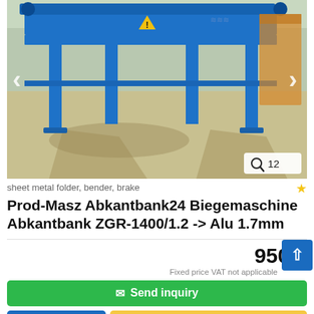[Figure (photo): Blue sheet metal folder/bender/brake machine (Prod-Masz) on concrete ground outdoors, with green trees in background. Navigation arrows on left and right side of image. Photo counter badge showing magnifier icon and '12' in bottom-right corner.]
sheet metal folder, bender, brake
Prod-Masz Abkantbank24 Biegemaschine  Abkantbank ZGR-1400/1.2 -> Alu 1.7mm
950 €
Fixed price VAT not applicable
✉ Send inquiry
➤ Save search query